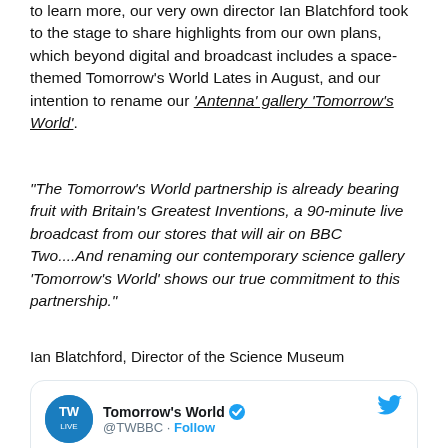to learn more, our very own director Ian Blatchford took to the stage to share highlights from our own plans, which beyond digital and broadcast includes a space-themed Tomorrow's World Lates in August, and our intention to rename our 'Antenna' gallery 'Tomorrow's World'.
"The Tomorrow's World partnership is already bearing fruit with Britain's Greatest Inventions, a 90-minute live broadcast from our stores that will air on BBC Two....And renaming our contemporary science gallery 'Tomorrow's World' shows our true commitment to this partnership."
Ian Blatchford, Director of the Science Museum
[Figure (screenshot): Embedded tweet from @TWBBC (Tomorrow's World) with Twitter bird logo, verified badge, Follow link, and tweet text: 'What is #BritainsGreatestInvention? Coming soon to @BBCTwo #TW2017']